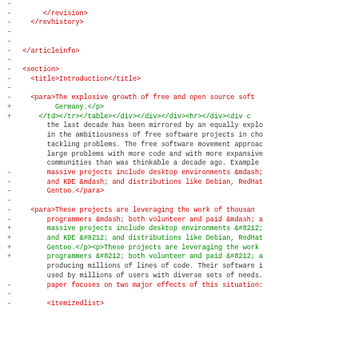Diff/code view showing XML and text content with removed (-) and added (+) lines, including XML tags like </revision>, </revhistory>, </articleinfo>, <section>, <title>Introduction</title>, <para>...</para> and surrounding diff context.